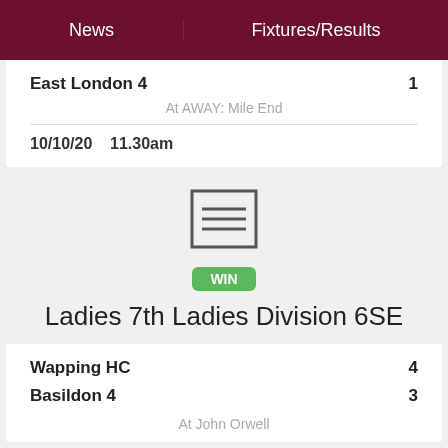News    Fixtures/Results
| Team | Score |
| --- | --- |
| East London 4 | 1 |
At AWAY: Mile End
10/10/20    11.30am
[Figure (illustration): Document/report icon with horizontal lines inside a rectangle, with a green WIN badge below it]
Ladies 7th Ladies Division 6SE
| Team | Score |
| --- | --- |
| Wapping HC | 4 |
| Basildon 4 | 3 |
At John Orwell